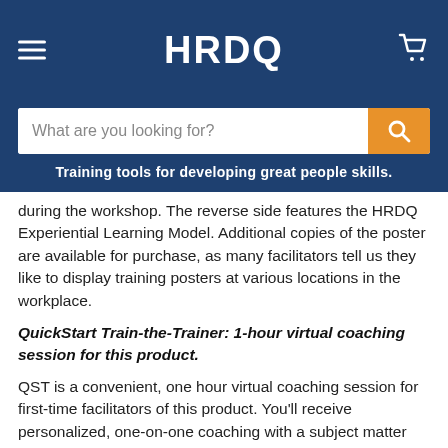HRDQ
What are you looking for?
Training tools for developing great people skills.
during the workshop. The reverse side features the HRDQ Experiential Learning Model. Additional copies of the poster are available for purchase, as many facilitators tell us they like to display training posters at various locations in the workplace.
QuickStart Train-the-Trainer: 1-hour virtual coaching session for this product.
QST is a convenient, one hour virtual coaching session for first-time facilitators of this product. You'll receive personalized, one-on-one coaching with a subject matter expert who will get you up to speed quickly and accurately, so you can step into the onsite with confidence. We'll answer all your questions about facilitation of the